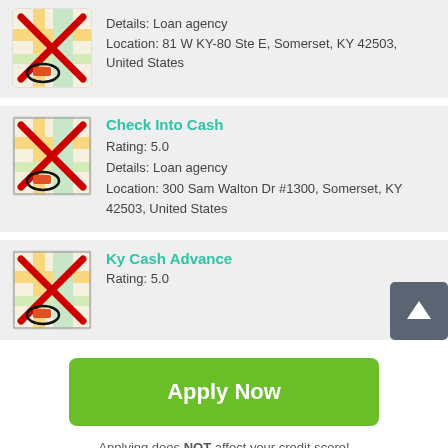[Figure (screenshot): Partial listing card showing Details: Loan agency and Location: 81 W KY-80 Ste E, Somerset, KY 42503, United States with a map icon]
Details: Loan agency
Location: 81 W KY-80 Ste E, Somerset, KY 42503, United States
Check Into Cash
Rating: 5.0
Details: Loan agency
Location: 300 Sam Walton Dr #1300, Somerset, KY 42503, United States
Ky Cash Advance
Rating: 5.0
Apply Now
Applying does NOT affect your credit score!
No credit check to apply.